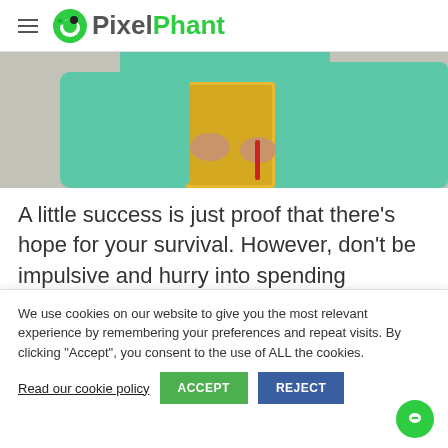PixelPhant
[Figure (photo): Person in teal/green shirt holding a yellow folder/clipboard, cropped to show torso and hands]
A little success is just proof that there’s hope for your survival. However, don’t be impulsive and hurry into spending fortunes on expansion. It’s better to keep a hold on your nerves, wait, save, collect knowledge,
We use cookies on our website to give you the most relevant experience by remembering your preferences and repeat visits. By clicking “Accept”, you consent to the use of ALL the cookies.
Read our cookie policy  ACCEPT  REJECT